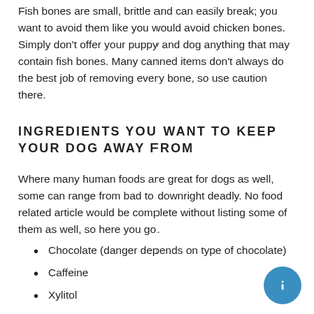Fish bones are small, brittle and can easily break; you want to avoid them like you would avoid chicken bones. Simply don't offer your puppy and dog anything that may contain fish bones. Many canned items don't always do the best job of removing every bone, so use caution there.
INGREDIENTS YOU WANT TO KEEP YOUR DOG AWAY FROM
Where many human foods are great for dogs as well, some can range from bad to downright deadly. No food related article would be complete without listing some of them as well, so here you go.
Chocolate (danger depends on type of chocolate)
Caffeine
Xylitol
Grapes